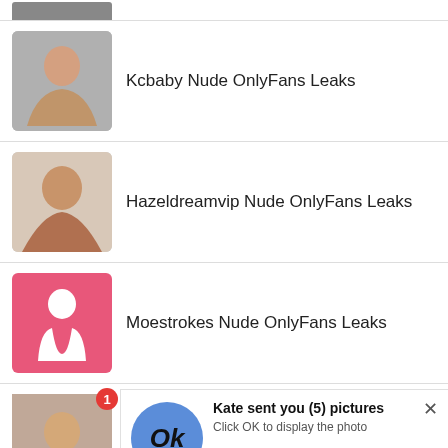[Figure (photo): Partial thumbnail of person visible at top of page]
Kcbaby Nude OnlyFans Leaks
Hazeldreamvip Nude OnlyFans Leaks
Moestrokes Nude OnlyFans Leaks
[Figure (infographic): Ad popup overlay: blue circle with 'Ok', title 'Kate sent you (5) pictures', subtitle 'Click OK to display the photo', notification badge '1', footer 'Ads By ClickAdilla csa']